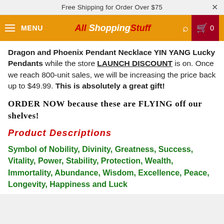Free Shipping for Order Over $75
MENU  All Shopping Stuff  0
Dragon and Phoenix Pendant Necklace YIN YANG Lucky Pendants while the store LAUNCH DISCOUNT is on. Once we reach 800-unit sales, we will be increasing the price back up to $49.99. This is absolutely a great gift!
ORDER NOW because these are FLYING off our shelves!
Product Descriptions
Symbol of Nobility, Divinity, Greatness, Success, Vitality, Power, Stability, Protection, Wealth, Immortality, Abundance, Wisdom, Excellence, Peace, Longevity, Happiness and Luck